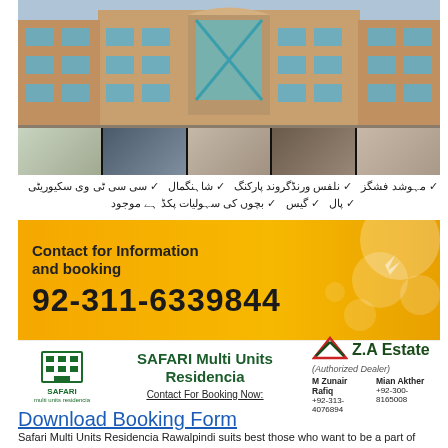[Figure (photo): Building exterior photo of Safari Multi Units Residencia with multiple floors and interior strip photos]
مہوشد فشگز ✓ نلفس ورنڈگروند پارکنگ ✓ شاہنگمال ✓ سی سی ٹی وی سکیوریٹی ✓ پال ✓ گیس ✓ بچوں کی سہولیات پکڈ ہے موجود
[Figure (infographic): Orange contact banner with text 'Contact for Information and booking' and phone number 92-311-6339844]
[Figure (logo): Safari Multi Units Residencia branding bar with logo, Z.A Estate authorized dealer logo, and contact persons M Zunair Rafiq +92-313-4076894 and Mian Akther +92-300-8165008]
Download Booking Form
Safari Multi Units Residencia Rawalpindi suits best those who want to be a part of Rawalpindi City with ease to move anywhere within Rawalpindi and Islamabad. The site is located at a distance of 5 KM away from Islamabad International Airport in Chakalala Scheme 3. The area of Safari Multi Units Residencia